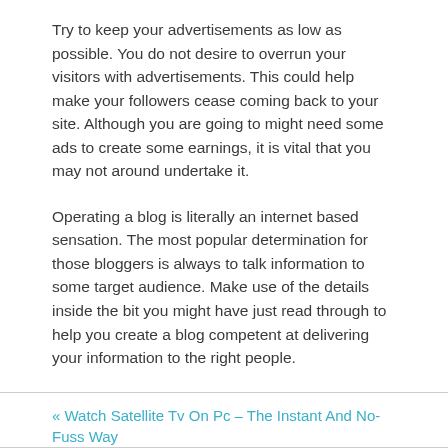Try to keep your advertisements as low as possible. You do not desire to overrun your visitors with advertisements. This could help make your followers cease coming back to your site. Although you are going to might need some ads to create some earnings, it is vital that you may not around undertake it.
Operating a blog is literally an internet based sensation. The most popular determination for those bloggers is always to talk information to some target audience. Make use of the details inside the bit you might have just read through to help you create a blog competent at delivering your information to the right people.
« Watch Satellite Tv On Pc – The Instant And No-Fuss Way
You Can Begin Your Blog Using This Guidance »